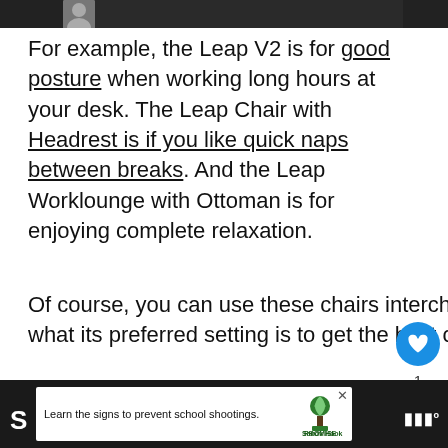[Figure (photo): Partial top image banner, dark background with partial avatar visible]
For example, the Leap V2 is for good posture when working long hours at your desk. The Leap Chair with Headrest is if you like quick naps between breaks. And the Leap Worklounge with Ottoman is for enjoying complete relaxation.
Of course, you can use these chairs interchangeably. But make sure you know what its preferred setting is to get the best out of it.
[Figure (screenshot): UI overlay with heart/like button showing count 1, and share button]
[Figure (infographic): What's Next promo: How to Protect Vinyl Floor...]
[Figure (infographic): Sandy Hook Promise advertisement: Learn the signs to prevent school shootings.]